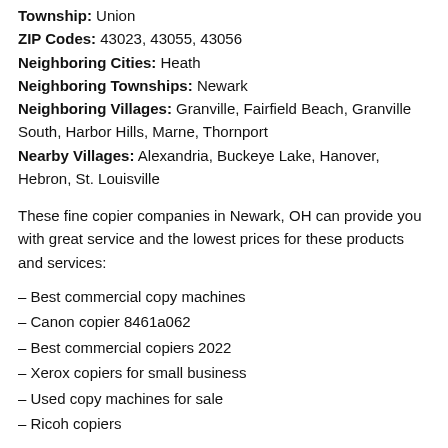Township: Union
ZIP Codes: 43023, 43055, 43056
Neighboring Cities: Heath
Neighboring Townships: Newark
Neighboring Villages: Granville, Fairfield Beach, Granville South, Harbor Hills, Marne, Thornport
Nearby Villages: Alexandria, Buckeye Lake, Hanover, Hebron, St. Louisville
These fine copier companies in Newark, OH can provide you with great service and the lowest prices for these products and services:
– Best commercial copy machines
– Canon copier 8461a062
– Best commercial copiers 2022
– Xerox copiers for small business
– Used copy machines for sale
– Ricoh copiers
Reduced Copier Prices for